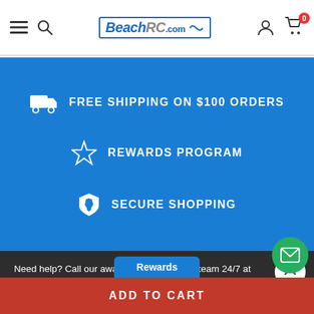BeachRC.com - navigation header with hamburger menu, search, logo, user icon, cart (0)
FREE SHIPPING ON $100 ORDERS
REWARDS PROGRAM
SECURE SHOPPING
Need help? Call our award-winning support team 24/7 at 843.273.6922
SUBSCRIBE TO OUR NEWSLETTER
Get the latest updates on new products and upcoming sales
ADD TO CART
Rewards